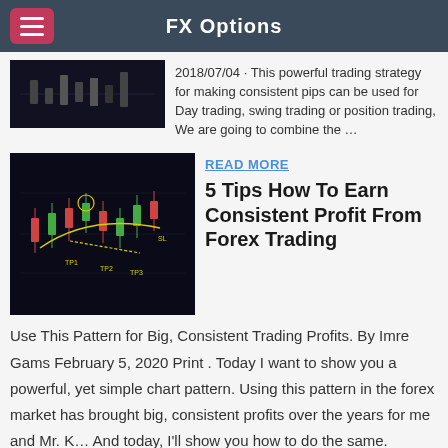FX Options
2018/07/04 · This powerful trading strategy for making consistent pips can be used for Day trading, swing trading or position trading, We are going to combine the …
READ MORE
5 Tips How To Earn Consistent Profit From Forex Trading
Use This Pattern for Big, Consistent Trading Profits. By Imre Gams February 5, 2020 Print . Today I want to show you a powerful, yet simple chart pattern. Using this pattern in the forex market has brought big, consistent profits over the years for me and Mr. K… And today, I'll show you how to do the same.
READ MORE